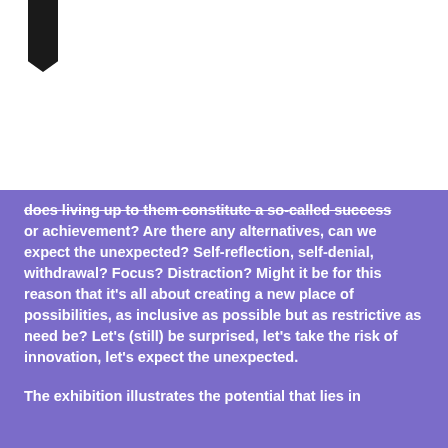[Figure (illustration): Black bookmark/ribbon icon in upper left corner against white background]
does living up to them constitute a so-called success or achievement? Are there any alternatives, can we expect the unexpected? Self-reflection, self-denial, withdrawal? Focus? Distraction? Might it be for this reason that it's all about creating a new place of possibilities, as inclusive as possible but as restrictive as need be? Let's (still) be surprised, let's take the risk of innovation, let's expect the unexpected.
The exhibition illustrates the potential that lies in